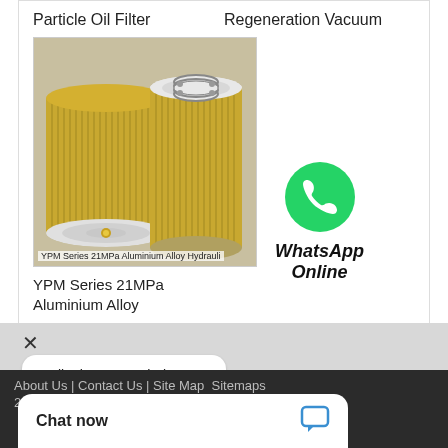Particle Oil Filter
Regeneration Vacuum
[Figure (photo): Two cylindrical hydraulic oil filter elements side by side — one showing the bottom circular end cap and one showing the top end with threaded center hole; both wrapped in gold pleated filter media]
YPM Series 21MPa Aluminium Alloy Hydrauli
YPM Series 21MPa Aluminium Alloy
[Figure (logo): WhatsApp green circular icon with white phone handset]
WhatsApp Online
Hello, how may I help you?
About Us | Contact Us | Site Map  Sitemaps
2022 All Rights
Chat now